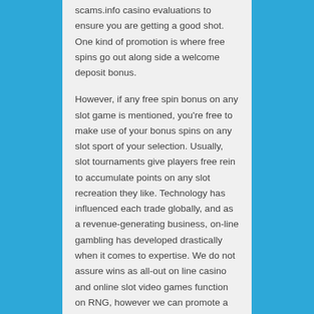scams.info casino evaluations to ensure you are getting a good shot. One kind of promotion is where free spins go out along side a welcome deposit bonus.

However, if any free spin bonus on any slot game is mentioned, you're free to make use of your bonus spins on any slot sport of your selection. Usually, slot tournaments give players free rein to accumulate points on any slot recreation they like. Technology has influenced each trade globally, and as a revenue-generating business, on-line gambling has developed drastically when it comes to expertise. We do not assure wins as all-out on line casino and online slot video games function on RNG, however we can promote a variety of gaming titles with excellent high quality and exclusive